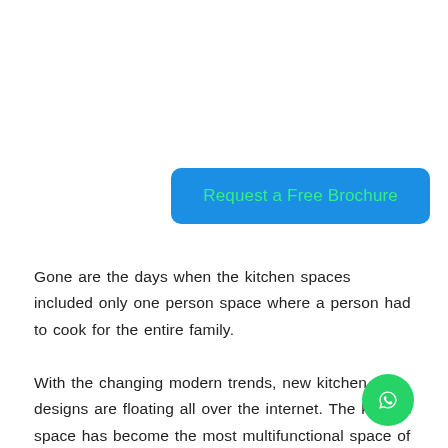[Figure (other): Blue rounded button with green text reading 'Request a Free Brochure']
Gone are the days when the kitchen spaces included only one person space where a person had to cook for the entire family.
With the changing modern trends, new kitchen designs are floating all over the internet. The kitchen space has become the most multifunctional space of the home
It is not only limited to cooking only but a space holding so many memories, feelings, and learning space of kids
[Figure (other): Green circular WhatsApp icon button]